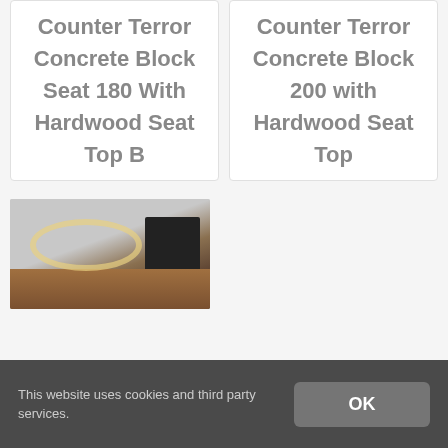Counter Terror Concrete Block Seat 180 With Hardwood Seat Top B
Counter Terror Concrete Block 200 with Hardwood Seat Top
[Figure (photo): Photograph of a counter terror concrete block seat with hardwood seat top, showing a circular yellow line on a grey surface and a dark rectangular element with wooden seat.]
This website uses cookies and third party services.
OK